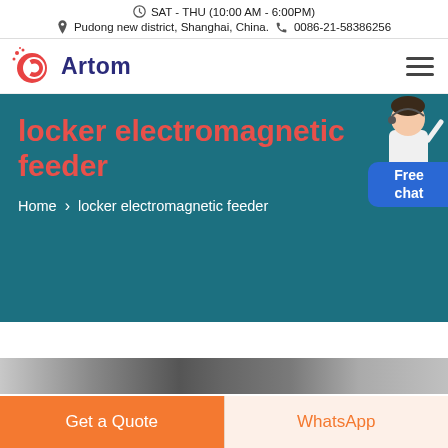SAT - THU (10:00 AM - 6:00PM)
Pudong new district, Shanghai, China.  0086-21-58386256
[Figure (logo): Artom company logo: red circular C icon with dots, navy blue text 'Artom']
locker electromagnetic feeder
Home > locker electromagnetic feeder
[Figure (photo): Partial view of locker/feeder product image at bottom of hero banner]
Get a Quote
WhatsApp